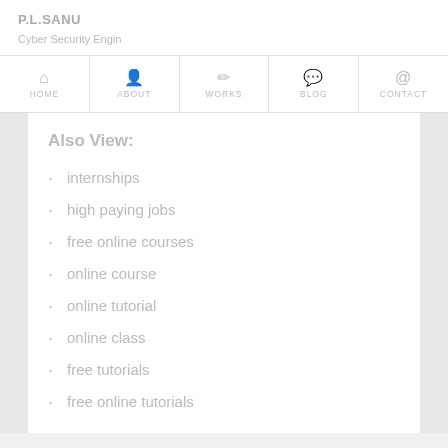P.L.SANU
Cyber Security Engin
HOME | ABOUT | WORKS | BLOG | CONTACT
Also View:
internships
high paying jobs
free online courses
online course
online tutorial
online class
free tutorials
free online tutorials